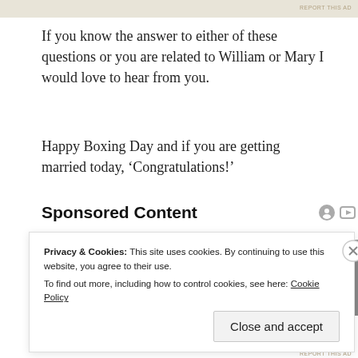[Figure (other): Advertisement bar at top of page]
If you know the answer to either of these questions or you are related to William or Mary I would love to hear from you.
Happy Boxing Day and if you are getting married today, ‘Congratulations!’
Sponsored Content
[Figure (photo): Sponsored content advertisement image showing a person against a yellow and grey background]
Privacy & Cookies: This site uses cookies. By continuing to use this website, you agree to their use.
To find out more, including how to control cookies, see here: Cookie Policy
Close and accept